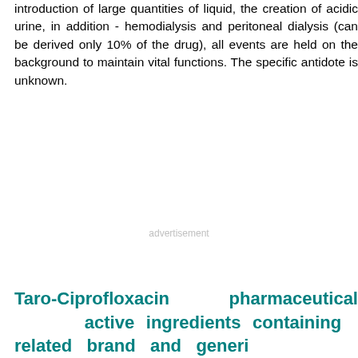introduction of large quantities of liquid, the creation of acidic urine, in addition - hemodialysis and peritoneal dialysis (can be derived only 10% of the drug), all events are held on the background to maintain vital functions. The specific antidote is unknown.
advertisement
Taro-Ciprofloxacin pharmaceutical active ingredients containing related brand and generic